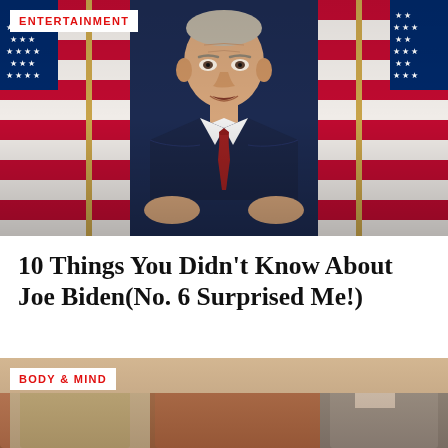[Figure (photo): Man in dark suit with red tie speaking at podium in front of multiple American flags with blue and red stripes]
ENTERTAINMENT
10 Things You Didn't Know About Joe Biden(No. 6 Surprised Me!)
BODY & MIND
[Figure (photo): Two people sitting on a couch with brown cushions, partial view showing legs and torsos]